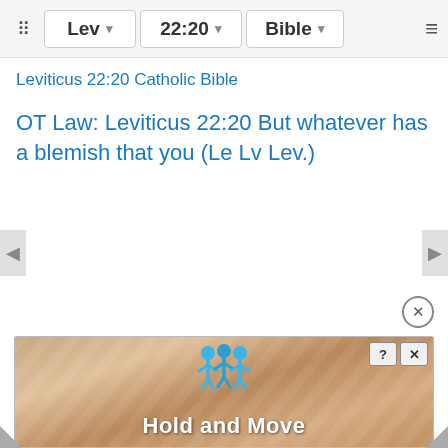Lev  22:20  Bible
Leviticus 22:20 Catholic Bible
OT Law: Leviticus 22:20 But whatever has a blemish that you (Le Lv Lev.)
[Figure (screenshot): Mobile app advertisement banner showing 'Hold and Move' game with cartoon figures, with help and close buttons at top right]